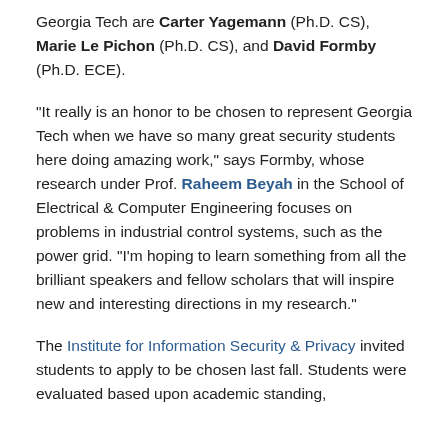Georgia Tech are Carter Yagemann (Ph.D. CS), Marie Le Pichon (Ph.D. CS), and David Formby (Ph.D. ECE).
"It really is an honor to be chosen to represent Georgia Tech when we have so many great security students here doing amazing work," says Formby, whose research under Prof. Raheem Beyah in the School of Electrical & Computer Engineering focuses on problems in industrial control systems, such as the power grid. "I'm hoping to learn something from all the brilliant speakers and fellow scholars that will inspire new and interesting directions in my research."
The Institute for Information Security & Privacy invited students to apply to be chosen last fall. Students were evaluated based upon academic standing,